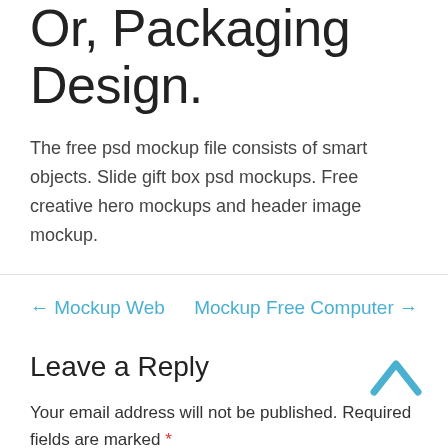Or, Packaging Design.
The free psd mockup file consists of smart objects. Slide gift box psd mockups. Free creative hero mockups and header image mockup.
← Mockup Web
Mockup Free Computer →
Leave a Reply
Your email address will not be published. Required fields are marked *
Comment *